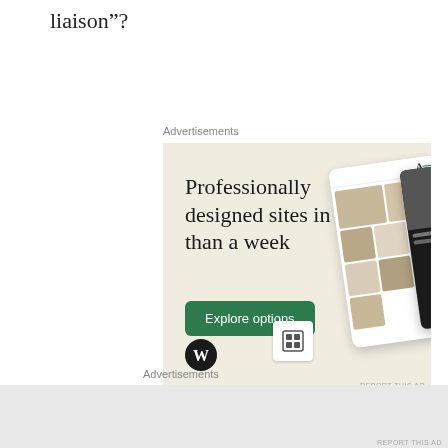liaison”?
Advertisements
[Figure (illustration): WordPress advertisement showing 'Professionally designed sites in less than a week' with an Explore options button, WordPress logo, and website mockup images on a beige background.]
Advertisements
[Figure (other): Empty grey advertisement placeholder banner at the bottom of the page.]